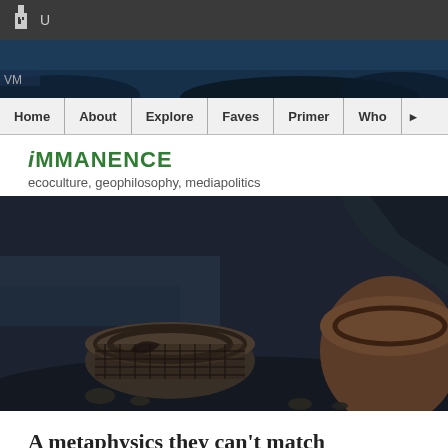U
[Figure (screenshot): Website navigation bar with dark top browser chrome, blue-toned hero banner, and navigation links: Home, About, Explore, Faves, Primer, Who]
iMMАНЕNCE
ecoculture, geophilosophy, mediapolitics
[Figure (photo): Dark atmospheric photograph showing rusted industrial machinery parts or old equipment on a rocky shoreline with water in the background, moody blue-grey tones]
A metaphysics they can't match
April 20, 2017 by Adrian J Ivakhiv